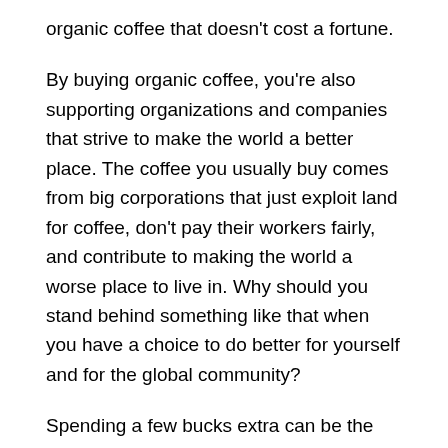organic coffee that doesn't cost a fortune.
By buying organic coffee, you're also supporting organizations and companies that strive to make the world a better place. The coffee you usually buy comes from big corporations that just exploit land for coffee, don't pay their workers fairly, and contribute to making the world a worse place to live in. Why should you stand behind something like that when you have a choice to do better for yourself and for the global community?
Spending a few bucks extra can be the difference between a worker that picks your coffee going home and having something to feed their children with. The more people support organic coffee production, the better and more comfortable life is on both sides of the world- the producing and consuming side.